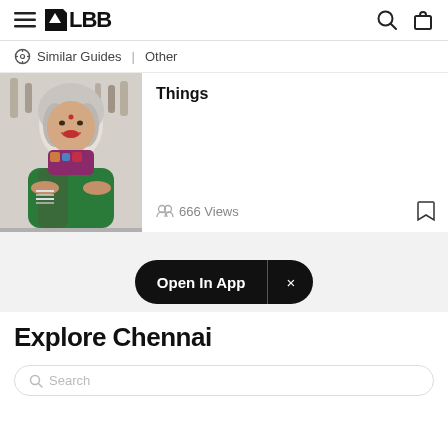LBB
Similar Guides   Other
[Figure (photo): Photo of a woman with silver-white hair wearing a green saree and colorful blouse, seated with bangles, smiling, with beauty products in the background.]
Things
666 Views
Open In App  ×
Explore Chennai